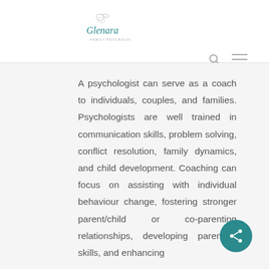Glenora Psychology
A psychologist can serve as a coach to individuals, couples, and families. Psychologists are well trained in communication skills, problem solving, conflict resolution, family dynamics, and child development. Coaching can focus on assisting with individual behaviour change, fostering stronger parent/child or co-parenting relationships, developing parenting skills, and enhancing